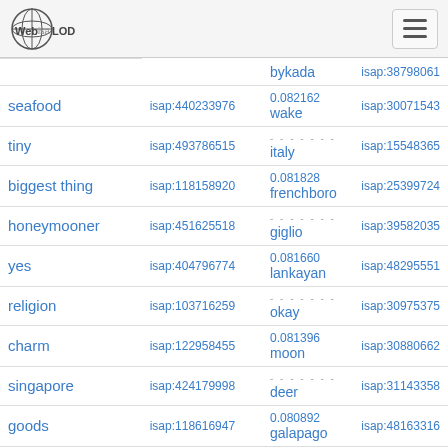WebIsaLOD navigation header
| term | isap | score | term2 | isap2 |
| --- | --- | --- | --- | --- |
|  |  | bykada | isap:38798061 |
| seafood | isap:440233976 | 0.082162
wake | isap:30071543 |
| tiny | isap:493786515 | italy | isap:15548365 |
| biggest thing | isap:118158920 | 0.081828
frenchboro | isap:25399724 |
| honeymooner | isap:451625518 | giglio | isap:39582035 |
| yes | isap:404796774 | 0.081660
lankayan | isap:48295551 |
| religion | isap:103716259 | okay | isap:30975375 |
| charm | isap:122958455 | 0.081396
moon | isap:30880662 |
| singapore | isap:424179998 | deer | isap:31143358 |
| goods | isap:118616947 | 0.080892
galapago | isap:48163316 |
| skill | isap:120377820 | ryukyus | isap:26909533 |
| best part | isap:493384453 | 0.080312 |  |